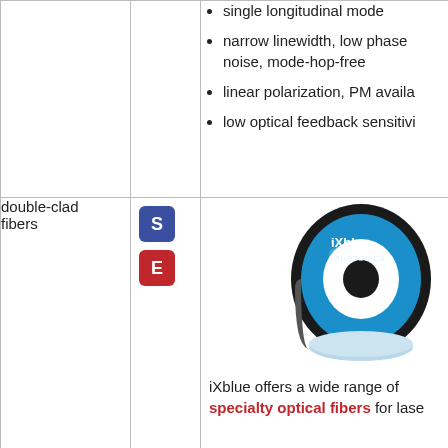single longitudinal mode
narrow linewidth, low phase noise, mode-hop-free
linear polarization, PM available
low optical feedback sensitivity
double-clad fibers
[Figure (photo): iXblue Photonics fiber optic spool on a blue labeled reel]
iXblue offers a wide range of specialty optical fibers for laser amplification. bonus text cut off